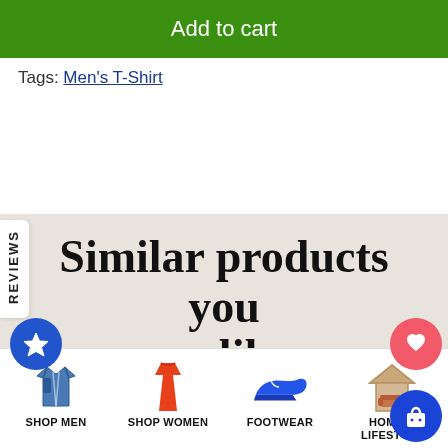Add to cart
Tags: Men's T-Shirt
Similar products you may like...
Customers who bought this item also
SHOP MEN
SHOP WOMEN
FOOTWEAR
HOME & LIFESTYLE